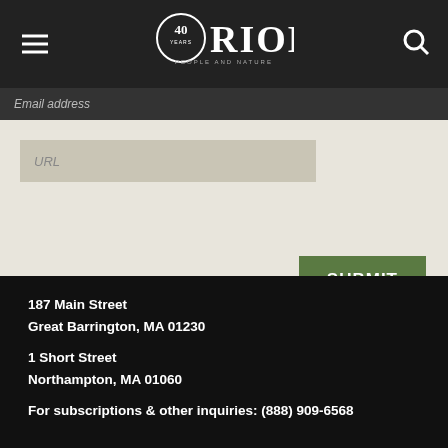ORION — People and Nature (40 years logo)
[Figure (screenshot): Website form area with email address field (dark bar), URL input field (tan/beige), and a green SUBMIT button]
PLEASE NOTE: Before submitting, copy your comment to your clipboard, be sure every required field is filled out, and only then submit.
187 Main Street
Great Barrington, MA 01230

1 Short Street
Northampton, MA 01060

For subscriptions & other inquiries: (888) 909-6568